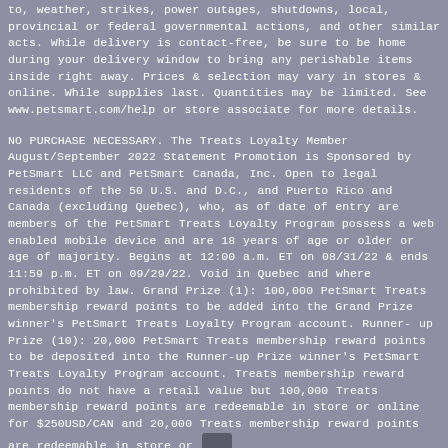to, weather, strikes, power outages, shutdowns, local, provincial or federal governmental actions, and other similar acts. While delivery is contact-free, be sure to be home during your delivery window to bring any perishable items inside right away. Prices & selection may vary in stores & online. While supplies last. Quantities may be limited. See www.petsmart.com/help or store associate for more details.
NO PURCHASE NECESSARY. The Treats Loyalty Member August/September 2022 Statement Promotion is Sponsored by PetSmart LLC and PetSmart Canada, Inc. Open to legal residents of the 50 U.S. and D.C., and Puerto Rico and Canada (excluding Quebec), who, as of date of entry are members of the PetSmart Treats Loyalty Program possess a web enabled mobile device and are 18 years of age or older or age of majority. Begins at 12:00 a.m. ET on 08/31/22 & ends 11:59 p.m. ET on 09/29/22. Void in Quebec and where prohibited by law. Grand Prize (1): 100,000 PetSmart Treats membership reward points to be added into the Grand Prize winner's PetSmart Treats Loyalty Program account. Runner-up Prize (10): 20,000 PetSmart Treats membership reward points to be deposited into the Runner-up Prize winner's PetSmart Treats Loyalty Program account. Treats membership reward points do not have a retail value but 100,000 Treats membership reward points are redeemable in store or online for $250USD/CAN and 20,000 Treats membership reward points are redeemable in store or